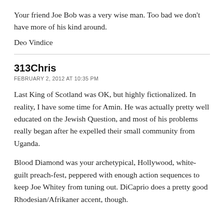Your friend Joe Bob was a very wise man. Too bad we don't have more of his kind around.
Deo Vindice
313Chris
FEBRUARY 2, 2012 AT 10:35 PM
Last King of Scotland was OK, but highly fictionalized. In reality, I have some time for Amin. He was actually pretty well educated on the Jewish Question, and most of his problems really began after he expelled their small community from Uganda.
Blood Diamond was your archetypical, Hollywood, white-guilt preach-fest, peppered with enough action sequences to keep Joe Whitey from tuning out. DiCaprio does a pretty good Rhodesian/Afrikaner accent, though.